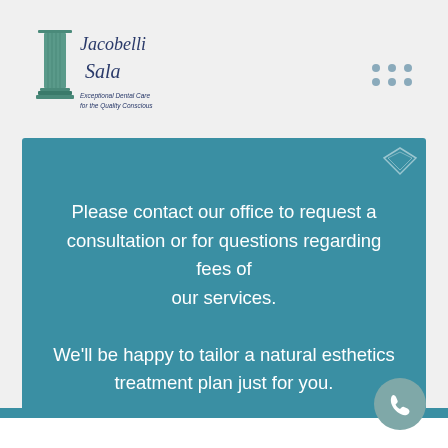[Figure (logo): Jacobelli Sala dental practice logo with a column illustration and text 'Exceptional Dental Care for the Quality Conscious']
[Figure (other): 3x2 grid of grey dots decoration in top right corner]
Please contact our office to request a consultation or for questions regarding fees of our services.

We'll be happy to tailor a natural esthetics treatment plan just for you.
[Figure (other): Teal/grey phone button circle at bottom right with phone handset icon]